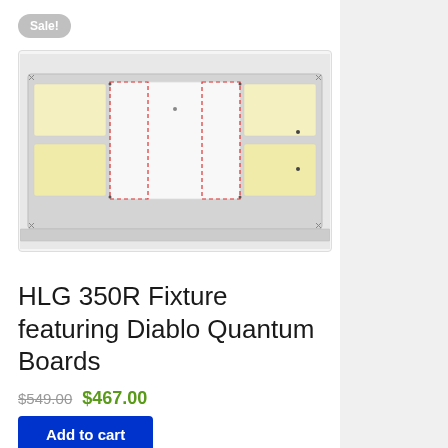Sale!
[Figure (photo): HLG 350R LED grow light fixture from top view showing quantum board layout with cream/yellow LED panels on sides and white center heatsink area, with red dotted border lines overlaid]
HLG 350R Fixture featuring Diablo Quantum Boards
$549.00  $467.00
Add to cart